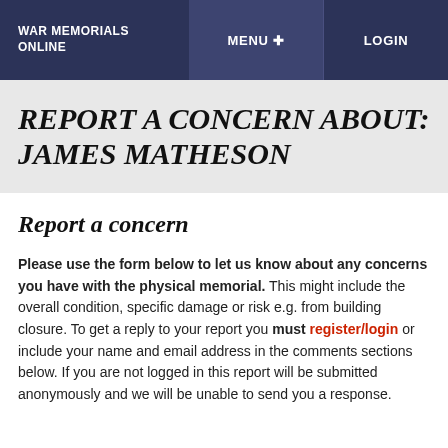WAR MEMORIALS ONLINE | MENU + | LOGIN
REPORT A CONCERN ABOUT: JAMES MATHESON
Report a concern
Please use the form below to let us know about any concerns you have with the physical memorial. This might include the overall condition, specific damage or risk e.g. from building closure. To get a reply to your report you must register/login or include your name and email address in the comments sections below. If you are not logged in this report will be submitted anonymously and we will be unable to send you a response.